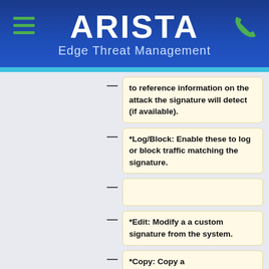ARISTA Edge Threat Management
to reference information on the attack the signature will detect (if available).
*Log/Block: Enable these to log or block traffic matching the signature.
*Edit: Modify a a custom signature from the system.
*Copy: Copy a